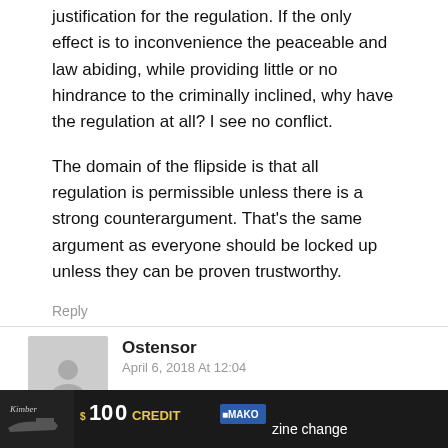justification for the regulation. If the only effect is to inconvenience the peaceable and law abiding, while providing little or no hindrance to the criminally inclined, why have the regulation at all? I see no conflict.
The domain of the flipside is that all regulation is permissible unless there is a strong counterargument. That's the same argument as everyone should be locked up unless they can be proven trustworthy.
Reply
Ostensor
April 6, 2018 At 12:04
"The only valid reason for restrictions is
[Figure (other): Advertisement banner: dark background with '$100 CREDIT' text, MAKO branding, and 'zine change' partial text. Kimber logo on left.]